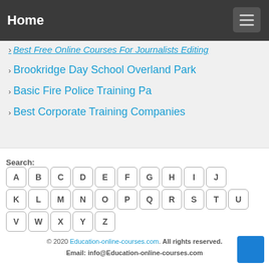Home
Best Free Online Courses For Journalists Editing
Brookridge Day School Overland Park
Basic Fire Police Training Pa
Best Corporate Training Companies
Search: A B C D E F G H I J K L M N O P Q R S T U V W X Y Z
© 2020 Education-online-courses.com. All rights reserved. Email: info@Education-online-courses.com